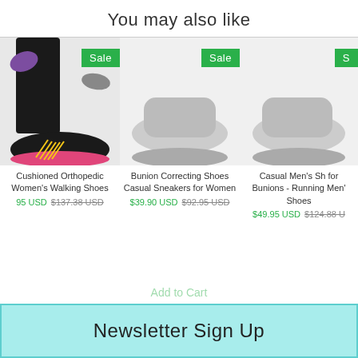You may also like
[Figure (photo): Black and pink cushioned orthopedic women's walking shoes with Sale badge]
Cushioned Orthopedic Women's Walking Shoes
$49.95 USD $137.38 USD
[Figure (photo): Bunion Correcting Shoes Casual Sneakers for Women product image with Sale badge]
Bunion Correcting Shoes Casual Sneakers for Women
$39.90 USD $92.95 USD
[Figure (photo): Casual Men's Shoes for Bunions Running Men's Shoes product image with Sale badge (partially visible)]
Casual Men's Shoes for Bunions - Running Men's Shoes
$49.95 USD $124.88 USD
Newsletter Sign Up